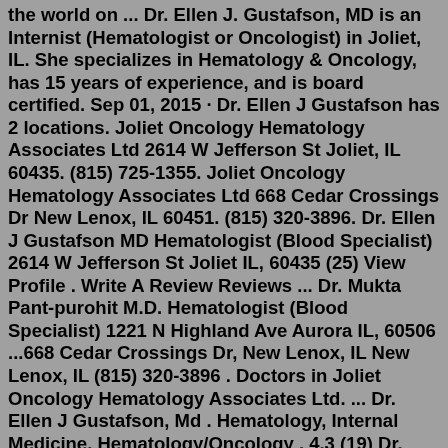the world on ... Dr. Ellen J. Gustafson, MD is an Internist (Hematologist or Oncologist) in Joliet, IL. She specializes in Hematology & Oncology, has 15 years of experience, and is board certified. Sep 01, 2015 · Dr. Ellen J Gustafson has 2 locations. Joliet Oncology Hematology Associates Ltd 2614 W Jefferson St Joliet, IL 60435. (815) 725-1355. Joliet Oncology Hematology Associates Ltd 668 Cedar Crossings Dr New Lenox, IL 60451. (815) 320-3896. Dr. Ellen J Gustafson MD Hematologist (Blood Specialist) 2614 W Jefferson St Joliet IL, 60435 (25) View Profile . Write A Review Reviews ... Dr. Mukta Pant-purohit M.D. Hematologist (Blood Specialist) 1221 N Highland Ave Aurora IL, 60506 ...668 Cedar Crossings Dr, New Lenox, IL New Lenox, IL (815) 320-3896 . Doctors in Joliet Oncology Hematology Associates Ltd. ... Dr. Ellen J Gustafson, Md . Hematology, Internal Medicine, Hematology/Oncology . 4.3 (19) Dr. Jason Jung-gon Suh, Md . Hematology, Internal Medicine, Hematology/Oncology . 3.5Dr. Ellen Gustafson is an